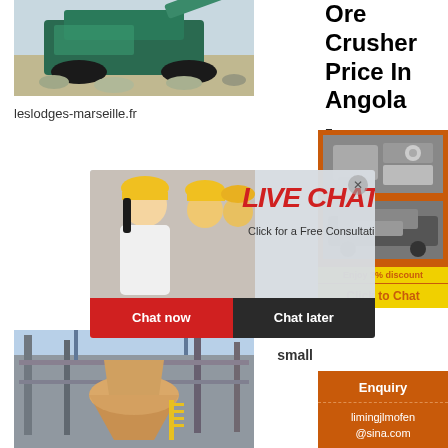[Figure (photo): Mining ore crusher machine on a construction/quarry site, teal colored heavy machinery]
Ore Crusher Price In Angola -
leslodges-marseille.fr
[Figure (photo): Orange sidebar advertisement panel with two crusher machine images, yellow text saying Enjoy 3% discount and Click to Chat button, Enquiry button, limingjlmofen@sina.com email]
[Figure (photo): Live Chat overlay popup with workers in hard hats, LIVE CHAT heading in red, Click for a Free Consultation text, Chat now and Chat later buttons]
small
Enquiry
limingjlmofen@sina.com
[Figure (photo): Industrial cone crusher or mill machine at a processing facility, outdoor setting with steel structures]